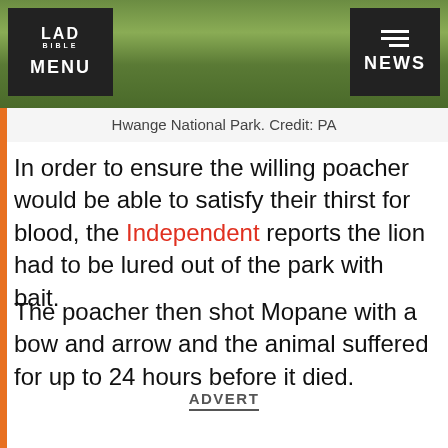[Figure (photo): Aerial or landscape view of Hwange National Park showing green grassland and bush vegetation]
Hwange National Park. Credit: PA
In order to ensure the willing poacher would be able to satisfy their thirst for blood, the Independent reports the lion had to be lured out of the park with bait.
The poacher then shot Mopane with a bow and arrow and the animal suffered for up to 24 hours before it died.
ADVERT